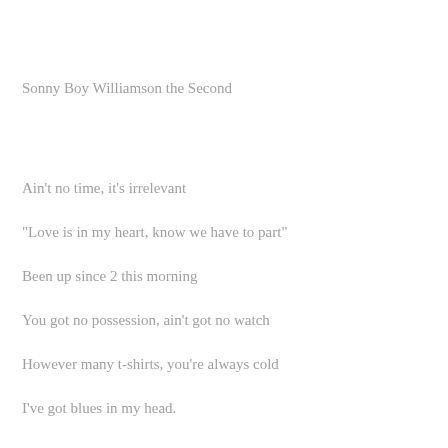Sonny Boy Williamson the Second
Ain't no time, it's irrelevant
“Love is in my heart, know we have to part”
Been up since 2 this morning
You got no possession, ain’t got no watch
However many t-shirts, you’re always cold
I’ve got blues in my head.